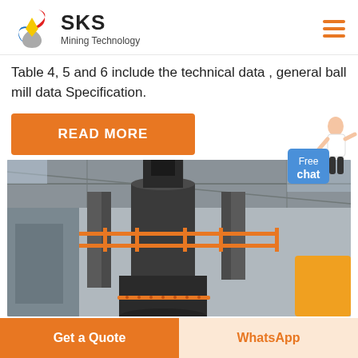SKS Mining Technology
Table 4, 5 and 6 include the technical data , general ball mill data Specification.
[Figure (other): Orange READ MORE button]
[Figure (photo): Industrial mining machine (vertical mill/agitator) inside a factory building with orange safety railing and large cylindrical tanks]
[Figure (other): Free chat widget with person illustration]
Get a Quote   WhatsApp